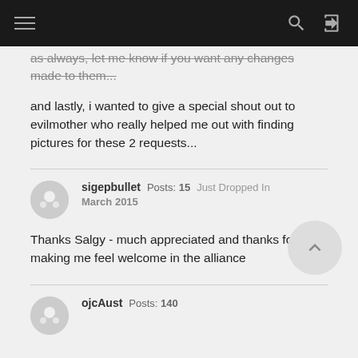Navigation bar with menu, search, and login icons
as always, let me know if you want any changes made to them...
and lastly, i wanted to give a special shout out to evilmother who really helped me out with finding pictures for these 2 requests...
sigepbullet   Posts: 15   Just Dropped In
March 2015
Thanks Salgy - much appreciated and thanks for making me feel welcome in the alliance
ojcAust   Posts: 140